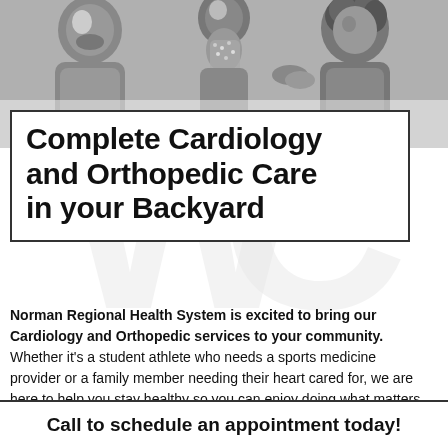[Figure (photo): Black and white photograph of three smiling people (appears to be family members) posed together at the top of the advertisement]
Complete Cardiology and Orthopedic Care in your Backyard
Norman Regional Health System is excited to bring our Cardiology and Orthopedic services to your community. Whether it's a student athlete who needs a sports medicine provider or a family member needing their heart cared for, we are here to help you stay healthy so you can enjoy doing what matters most.
Call to schedule an appointment today!